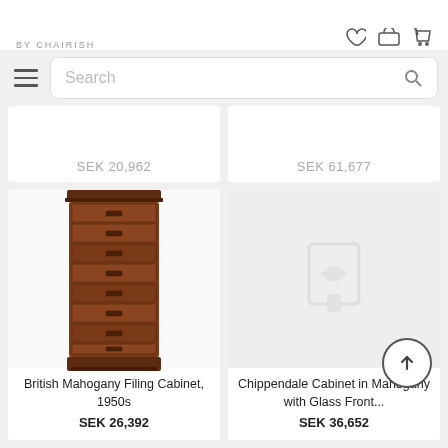BY CHAIRISH
Search
SEK 20,962
SEK 61,677
[Figure (photo): British Mahogany Filing Cabinet, 1950s - tall narrow chest with multiple drawers]
British Mahogany Filing Cabinet, 1950s
SEK 26,392
[Figure (photo): Chippendale Cabinet in Mahogany with Glass Front - placeholder image shown]
Chippendale Cabinet in Mahogany with Glass Front...
SEK 36,652